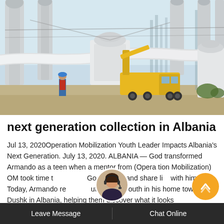[Figure (photo): Electrical substation with large transformer infrastructure, white pipes and cables, tall tower columns, a yellow crane truck, and a worker in blue overalls and red top standing nearby. Taken on a dry, sandy site under a clear sky.]
next generation collection in Albania
Jul 13, 2020Operation Mobilization Youth Leader Impacts Albania's Next Generation. July 13, 2020. ALBANIA — God transformed Armando as a teen when a mentor from (Operation Mobilization) OM took time to read God's Word and share life with him. Today, Armando reaches out to other youth in his home town of Dushk in Albania, helping them discover what it looks